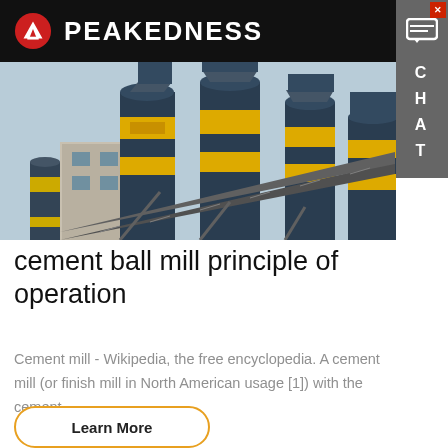PEAKEDNESS
[Figure (photo): Industrial cement plant with multiple large blue and yellow striped storage silos and a conveyor belt system, photographed from a low angle against a pale sky.]
cement ball mill principle of operation
Cement mill - Wikipedia, the free encyclopedia. A cement mill (or finish mill in North American usage [1]) with the cement…
Learn More